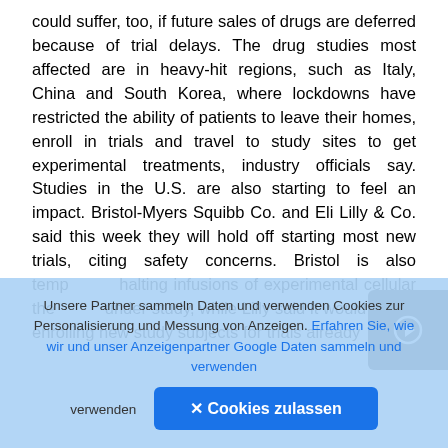could suffer, too, if future sales of drugs are deferred because of trial delays. The drug studies most affected are in heavy-hit regions, such as Italy, China and South Korea, where lockdowns have restricted the ability of patients to leave their homes, enroll in trials and travel to study sites to get experimental treatments, industry officials say. Studies in the U.S. are also starting to feel an impact. Bristol-Myers Squibb Co. and Eli Lilly & Co. said this week they will hold off starting most new trials, citing safety concerns. Bristol is also temporarily halting infusions of experimental cellular therapies under study, while Lilly said it would pause enrolling new study subjects for trials already underway. Pfizer also said it would slow enrollment
Unsere Partner sammeln Daten und verwenden Cookies zur Personalisierung und Messung von Anzeigen. Erfahren Sie, wie wir und unser Anzeigenpartner Google Daten sammeln und verwenden